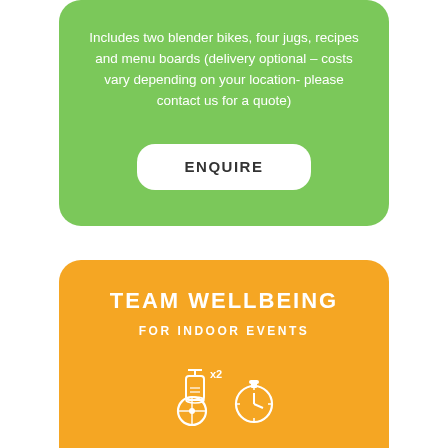Includes two blender bikes, four jugs, recipes and menu boards (delivery optional – costs vary depending on your location- please contact us for a quote)
ENQUIRE
TEAM WELLBEING
FOR INDOOR EVENTS
[Figure (illustration): Two white icons: a blender bike with x2 label and a stopwatch, on orange background]